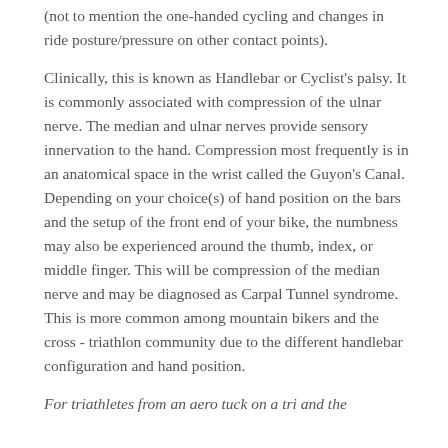(not to mention the one-handed cycling and changes in ride posture/pressure on other contact points).
Clinically, this is known as Handlebar or Cyclist's palsy. It is commonly associated with compression of the ulnar nerve. The median and ulnar nerves provide sensory innervation to the hand. Compression most frequently is in an anatomical space in the wrist called the Guyon's Canal. Depending on your choice(s) of hand position on the bars and the setup of the front end of your bike, the numbness may also be experienced around the thumb, index, or middle finger. This will be compression of the median nerve and may be diagnosed as Carpal Tunnel syndrome. This is more common among mountain bikers and the cross - triathlon community due to the different handlebar configuration and hand position.
For triathletes from an aero tuck on a tri and the...